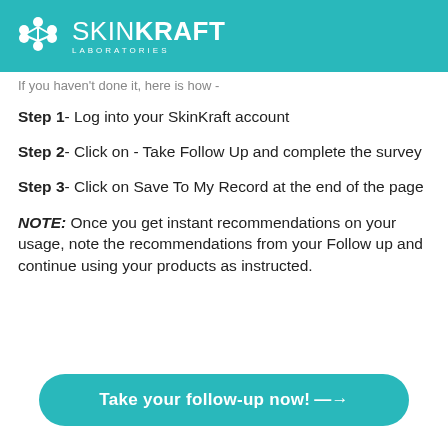[Figure (logo): SkinKraft Laboratories logo — white hexagonal molecule icon and wordmark on teal background]
If you haven't done it, here is how -
Step 1- Log into your SkinKraft account
Step 2- Click on - Take Follow Up and complete the survey
Step 3- Click on Save To My Record at the end of the page
NOTE: Once you get instant recommendations on your usage, note the recommendations from your Follow up and continue using your products as instructed.
Take your follow-up now! →